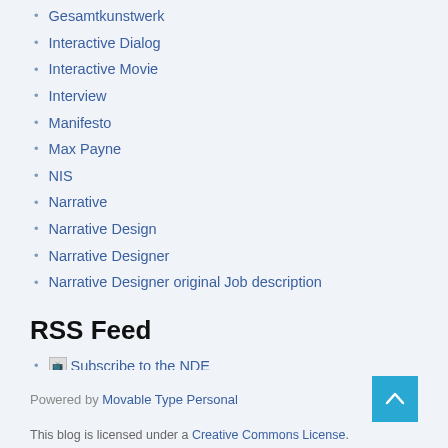Gesamtkunstwerk
Interactive Dialog
Interactive Movie
Interview
Manifesto
Max Payne
NIS
Narrative
Narrative Design
Narrative Designer
Narrative Designer original Job description
RSS Feed
Subscribe to feed Subscribe to the NDE
Powered by Movable Type Personal
This blog is licensed under a Creative Commons License.